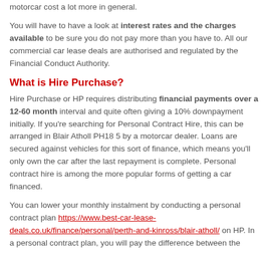motorcar cost a lot more in general.
You will have to have a look at interest rates and the charges available to be sure you do not pay more than you have to. All our commercial car lease deals are authorised and regulated by the Financial Conduct Authority.
What is Hire Purchase?
Hire Purchase or HP requires distributing financial payments over a 12-60 month interval and quite often giving a 10% downpayment initially. If you're searching for Personal Contract Hire, this can be arranged in Blair Atholl PH18 5 by a motorcar dealer. Loans are secured against vehicles for this sort of finance, which means you'll only own the car after the last repayment is complete. Personal contract hire is among the more popular forms of getting a car financed.
You can lower your monthly instalment by conducting a personal contract plan https://www.best-car-lease-deals.co.uk/finance/personal/perth-and-kinross/blair-atholl/ on HP. In a personal contract plan, you will pay the difference between the